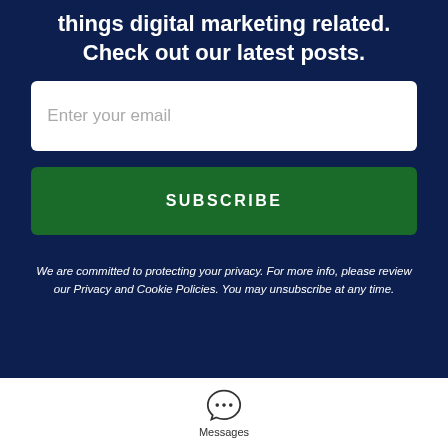things digital marketing related. Check out our latest posts.
Enter your email
SUBSCRIBE
We are committed to protecting your privacy. For more info, please review our Privacy and Cookie Policies. You may unsubscribe at any time.
[Figure (illustration): Chat bubble icon with three dots (ellipsis) indicating messages]
Messages